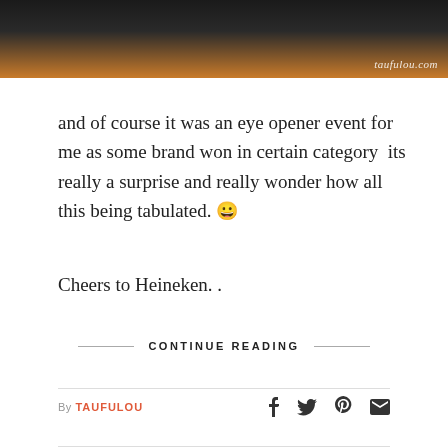[Figure (photo): Partial bottom edge of a photo showing people in dark clothing against an orange background, with watermark 'taufulou.com' in the lower right]
and of course it was an eye opener event for me as some brand won in certain category  its really a surprise and really wonder how all this being tabulated. 😀
Cheers to Heineken. .
CONTINUE READING
By TAUFULOU